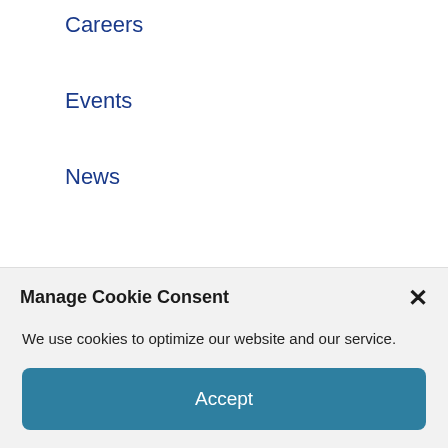Careers
Events
News
Meta
Log in
Entries feed
Comments feed
Manage Cookie Consent
We use cookies to optimize our website and our service.
Accept